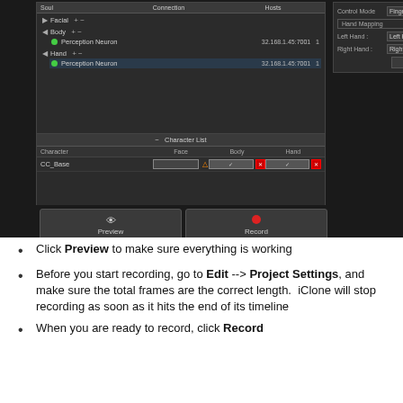[Figure (screenshot): iClone motion capture plugin UI showing device connection panel with Facial/Body/Hand sections, Character List with CC_Base entry, Preview and Record buttons, and right panel with Control Mode Finger, Hand Mapping Left/Right Hand dropdowns, and Switch Mapping button.]
Click Preview to make sure everything is working
Before you start recording, go to Edit --> Project Settings, and make sure the total frames are the correct length.  iClone will stop recording as soon as it hits the end of its timeline
When you are ready to record, click Record